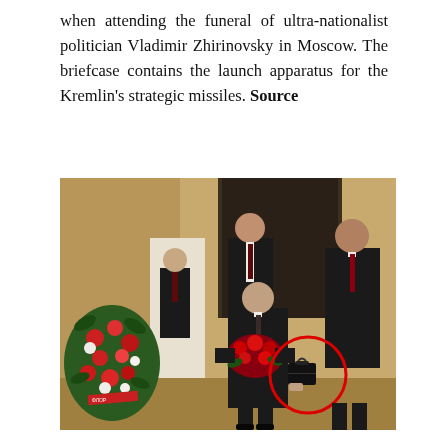when attending the funeral of ultra-nationalist politician Vladimir Zhirinovsky in Moscow. The briefcase contains the launch apparatus for the Kremlin's strategic missiles. Source
[Figure (photo): A photograph showing several men in dark suits inside a formal building. A shorter man (identified as Putin) stands in the center holding a large bouquet of red roses. Two taller men stand behind him. To his right, a man carries a black briefcase, which is circled in red. To the left is a large floral wreath.]